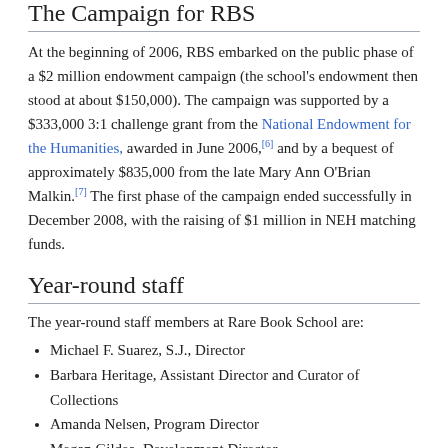The Campaign for RBS
At the beginning of 2006, RBS embarked on the public phase of a $2 million endowment campaign (the school's endowment then stood at about $150,000). The campaign was supported by a $333,000 3:1 challenge grant from the National Endowment for the Humanities, awarded in June 2006,[6] and by a bequest of approximately $835,000 from the late Mary Ann O'Brian Malkin.[7] The first phase of the campaign ended successfully in December 2008, with the raising of $1 million in NEH matching funds.
Year-round staff
The year-round staff members at Rare Book School are:
Michael F. Suarez, S.J., Director
Barbara Heritage, Assistant Director and Curator of Collections
Amanda Nelsen, Program Director
Megan Gildea, Development Director
Danielle Culpepper, Administrator for Budget, Finance & Management
Donna Sy, Mellon Fellowship Program Director